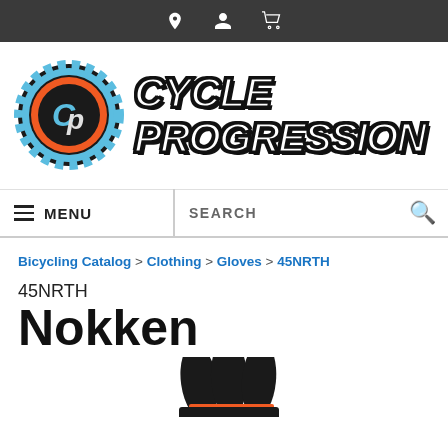Top navigation bar with location, account, and cart icons
[Figure (logo): Cycle Progression logo: gear/sprocket icon with C and P letters in orange and blue, next to bold italic text reading CYCLE PROGRESSION with black outline]
MENU   SEARCH
Bicycling Catalog > Clothing > Gloves > 45NRTH
45NRTH
Nokken
[Figure (photo): Partial bottom portion of black cycling gloves with orange stripe detail, photographed against white background]